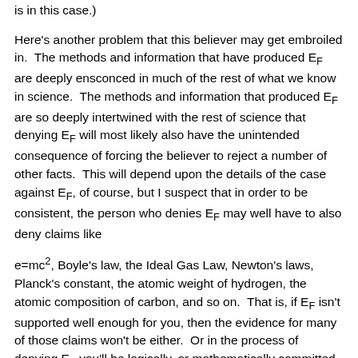is in this case.)
Here's another problem that this believer may get embroiled in.  The methods and information that have produced E_F are deeply ensconced in much of the rest of what we know in science.  The methods and information that produced E_F are so deeply intertwined with the rest of science that denying E_F will most likely also have the unintended consequence of forcing the believer to reject a number of other facts.  This will depend upon the details of the case against E_F, of course, but I suspect that in order to be consistent, the person who denies E_F may well have to also deny claims like
e=mc^2, Boyle's law, the Ideal Gas Law, Newton's laws, Planck's constant, the atomic weight of hydrogen, the atomic composition of carbon, and so on.  That is, if E_F isn't supported well enough for you, then the evidence for many of those claims won't be either.  Or in the process of denying E_F you'll be logically, or mathematically committed to also deny some or many of these other central claims in science.  In short, denying F will most likely require you to also deny too many other things that we know are true and that you